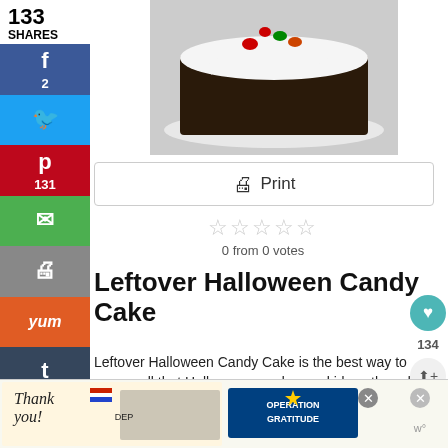133
SHARES
[Figure (photo): A slice of chocolate cake topped with white whipped frosting and colorful M&M candies on a white plate]
🖨 Print
☆☆☆☆☆
0 from 0 votes
Leftover Halloween Candy Cake
Leftover Halloween Candy Cake is the best way to use up all that Halloween candy your kids gathered. Doctored up cake mix and a simple whipped frosting.
Prep Time
15 mins
[Figure (photo): Advertisement banner: Operation Gratitude thank you ad with firefighters image]